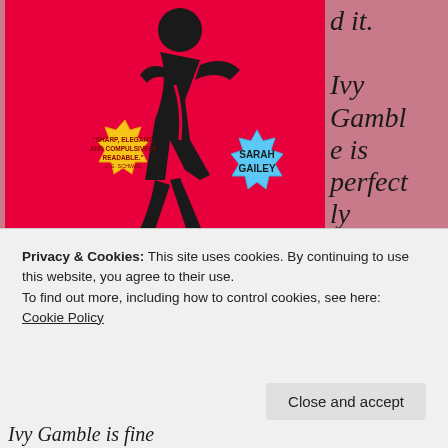[Figure (illustration): Book cover of a novel by Sarah Gailey, pink background with a running figure in black outfit, yellow star badge reading 'SHARP, ELEGANT, AND COMPULSIVELY READABLE. - V.E. SCHWAB' and blue badge with 'SARAH GAILEY']
d it. Ivy Gamble is perfectly happy with her life – or at least, she's perfectly fine.
Privacy & Cookies: This site uses cookies. By continuing to use this website, you agree to their use.
To find out more, including how to control cookies, see here: Cookie Policy
Close and accept
Ivy Gamble is fine